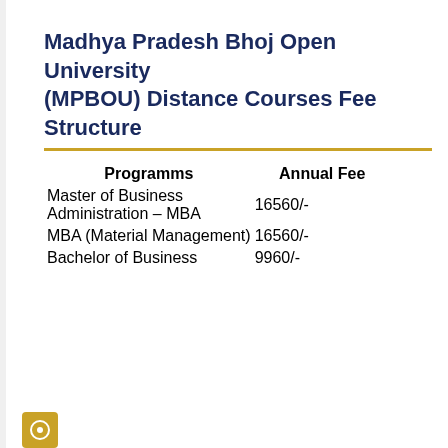Madhya Pradesh Bhoj Open University (MPBOU) Distance Courses Fee Structure
| Programms | Annual Fee |
| --- | --- |
| Master of Business Administration – MBA | 16560/- |
| MBA (Material Management) | 16560/- |
| Bachelor of Business | 9960/- |